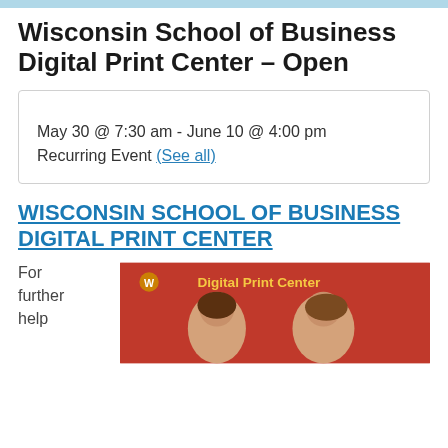Wisconsin School of Business Digital Print Center – Open
May 30 @ 7:30 am - June 10 @ 4:00 pm
Recurring Event (See all)
WISCONSIN SCHOOL OF BUSINESS DIGITAL PRINT CENTER
For further help
[Figure (photo): Two women smiling in front of a red Digital Print Center sign with the University of Wisconsin W logo]